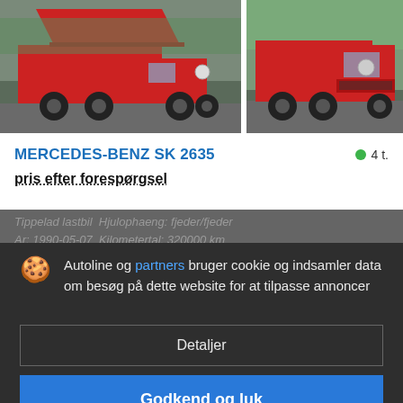[Figure (photo): Two red Mercedes-Benz SK 2635 dump trucks photographed on a road. Left photo shows truck with raised tipper bed from rear-left angle. Right photo shows truck from front-left angle.]
MERCEDES-BENZ SK 2635
4 t.
pris efter forespørgsel
Tippelad lastbil  Hjulophaeng: fjeder/fjeder   Ar: 1990-05-07  Kilometertal: 320000 km   Belgien
Autoline og partners bruger cookie og indsamler data om besøg på dette website for at tilpasse annoncer
Detaljer
Godkend og luk